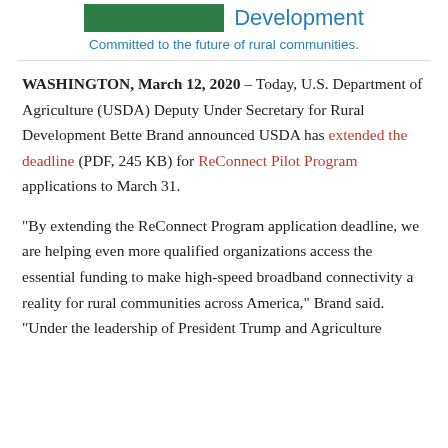[Figure (logo): USDA Rural Development logo with green bar and blue text reading 'Development']
Committed to the future of rural communities.
WASHINGTON, March 12, 2020 – Today, U.S. Department of Agriculture (USDA) Deputy Under Secretary for Rural Development Bette Brand announced USDA has extended the deadline (PDF, 245 KB) for ReConnect Pilot Program applications to March 31.
“By extending the ReConnect Program application deadline, we are helping even more qualified organizations access the essential funding to make high-speed broadband connectivity a reality for rural communities across America,” Brand said. “Under the leadership of President Trump and Agriculture